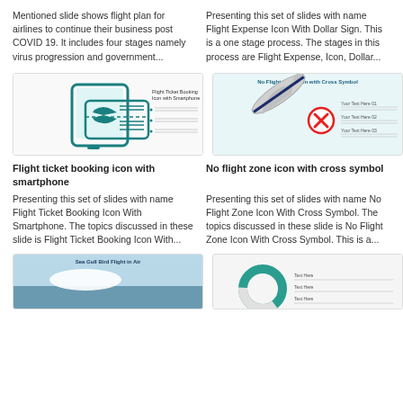Mentioned slide shows flight plan for airlines to continue their business post COVID 19. It includes four stages namely virus progression and government...
Presenting this set of slides with name Flight Expense Icon With Dollar Sign. This is a one stage process. The stages in this process are Flight Expense, Icon, Dollar...
[Figure (screenshot): Flight Ticket Booking Icon with Smartphone slide thumbnail]
[Figure (screenshot): No Flight Zone Icon with Cross Symbol slide thumbnail]
Flight ticket booking icon with smartphone
No flight zone icon with cross symbol
Presenting this set of slides with name Flight Ticket Booking Icon With Smartphone. The topics discussed in these slide is Flight Ticket Booking Icon With...
Presenting this set of slides with name No Flight Zone Icon With Cross Symbol. The topics discussed in these slide is No Flight Zone Icon With Cross Symbol. This is a...
[Figure (screenshot): Sea Gull Bird Flight in Air slide thumbnail]
[Figure (screenshot): Another slide thumbnail (partially visible)]